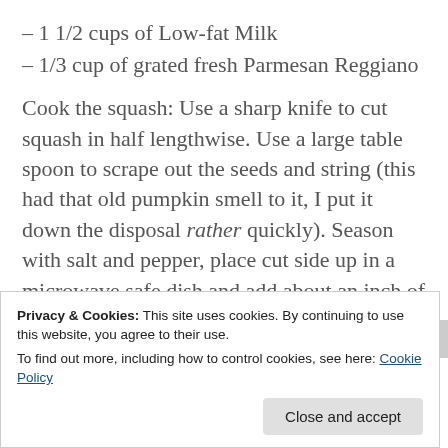– 1 1/2 cups of Low-fat Milk
– 1/3 cup of grated fresh Parmesan Reggiano
Cook the squash: Use a sharp knife to cut squash in half lengthwise. Use a large table spoon to scrape out the seeds and string (this had that old pumpkin smell to it, I put it down the disposal rather quickly). Season with salt and pepper, place cut side up in a microwave safe dish and add about an inch of water to the bottom of the dish. Cover dish with cling wrap and microwave on high for 8-10 minutes (I
Privacy & Cookies: This site uses cookies. By continuing to use this website, you agree to their use.
To find out more, including how to control cookies, see here: Cookie Policy